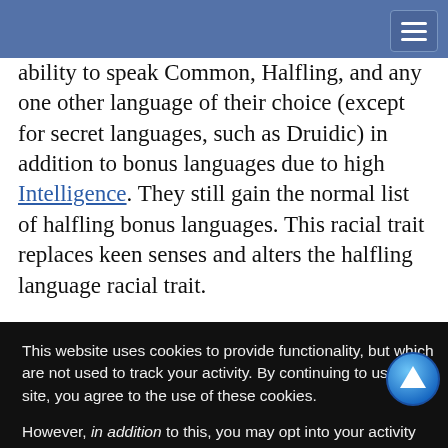ability to speak Common, Halfling, and any one other language of their choice (except for secret languages, such as Druidic) in addition to bonus languages due to high Intelligence. They still gain the normal list of halfling bonus languages. This racial trait replaces keen senses and alters the halfling language racial trait.
work and his racial trait t or Profession checks and al trait replaces
rait do not rovised e Catch Off- or the purpose
This website uses cookies to provide functionality, but which are not used to track your activity. By continuing to use this site, you agree to the use of these cookies.

However, in addition to this, you may opt into your activity being tracked in order to help us improve our service.

For more information, please click here